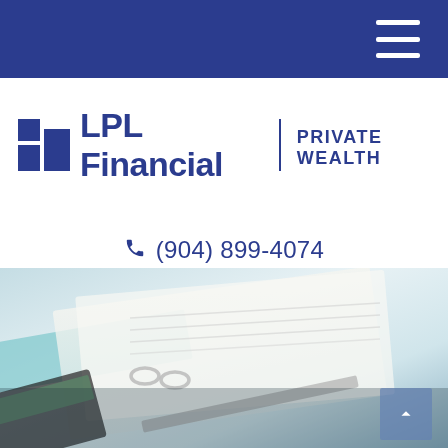[Figure (logo): LPL Financial Private Wealth logo with LPL icon, wordmark, vertical divider, and PRIVATE WEALTH text on white background with top navy navigation bar and hamburger menu]
(904) 899-4074
[Figure (photo): Close-up photo of financial documents in a binder with a calculator and pen on a desk, soft focus background]